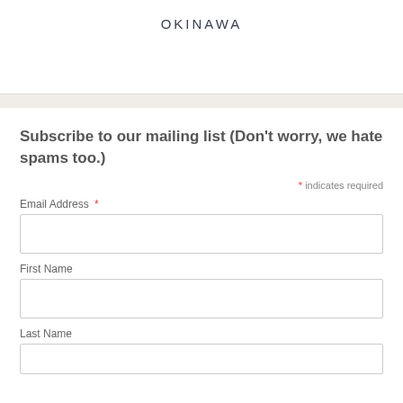OKINAWA
Subscribe to our mailing list (Don't worry, we hate spams too.)
* indicates required
Email Address *
First Name
Last Name